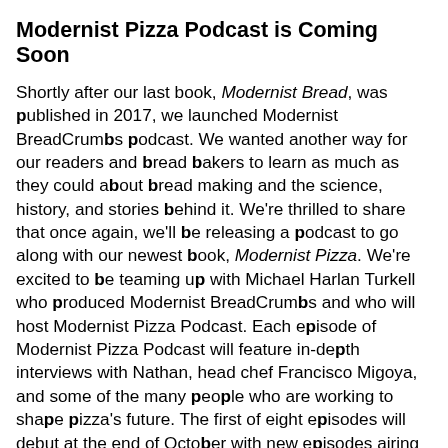Modernist Pizza Podcast is Coming Soon
Shortly after our last book, Modernist Bread, was published in 2017, we launched Modernist BreadCrumbs podcast. We wanted another way for our readers and bread bakers to learn as much as they could about bread making and the science, history, and stories behind it. We're thrilled to share that once again, we'll be releasing a podcast to go along with our newest book, Modernist Pizza. We're excited to be teaming up with Michael Harlan Turkell who produced Modernist BreadCrumbs and who will host Modernist Pizza Podcast. Each episode of Modernist Pizza Podcast will feature in-depth interviews with Nathan, head chef Francisco Migoya, and some of the many people who are working to shape pizza's future. The first of eight episodes will debut at the end of October with new episodes airing each week.